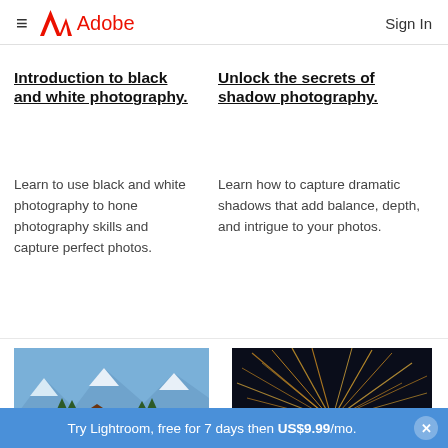Adobe — Sign In
Introduction to black and white photography.
Learn to use black and white photography to hone photography skills and capture perfect photos.
Unlock the secrets of shadow photography.
Learn how to capture dramatic shadows that add balance, depth, and intrigue to your photos.
[Figure (photo): Snowy mountain landscape with a cabin and pine trees under blue sky]
[Figure (photo): Long exposure photo of spinning steel wool creating sparks at night]
Adjusting white
Exploring light
Try Lightroom, free for 7 days then US$9.99/mo.